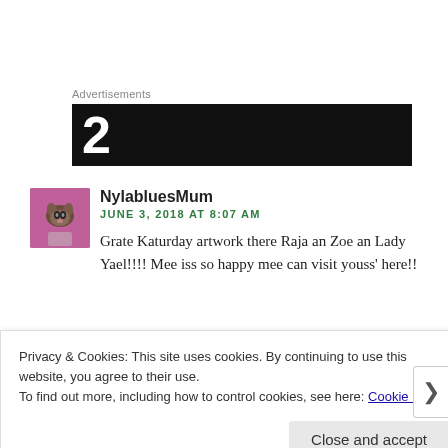Advertisements
[Figure (screenshot): Dark advertisement banner with white number/letter visible on left side]
[Figure (photo): User avatar showing a cat held in someone's hand with pink background]
NylabluesMum
JUNE 3, 2018 AT 8:07 AM
Grate Katurday artwork there Raja an Zoe an Lady Yael!!!! Mee iss so happy mee can visit youss' here!!
Privacy & Cookies: This site uses cookies. By continuing to use this website, you agree to their use.
To find out more, including how to control cookies, see here: Cookie Policy
Close and accept